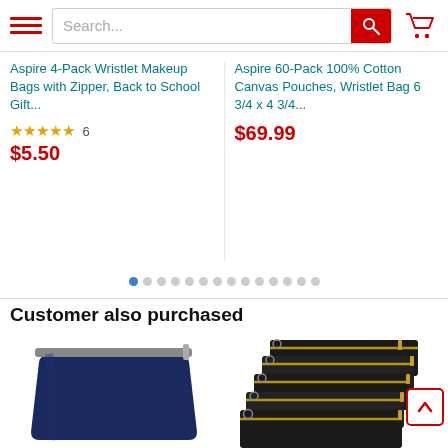[Figure (screenshot): E-commerce website header with hamburger menu, search bar, and shopping cart icon]
Aspire 4-Pack Wristlet Makeup Bags with Zipper, Back to School Gift...
★★★★★ 6
$5.50
Aspire 60-Pack 100% Cotton Canvas Pouches, Wristlet Bag 6 3/4 x 4 3/4...
$69.99
Customer also purchased
[Figure (photo): Navy blue canvas makeup bag, trapezoidal shape with zipper]
Aspire 30-Pack Canvas
[Figure (photo): Stack of black canvas zipper pouches with gold zipper pulls, multiple bags fanned out]
Aspire 30-Pack Canvas